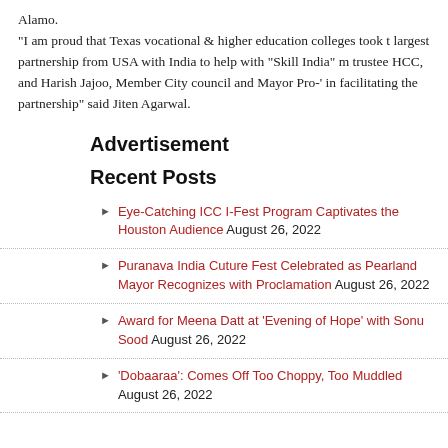Alamo.
"I am proud that Texas vocational & higher education colleges took t largest partnership from USA with India to help with “Skill India” m trustee HCC, and Harish Jajoo, Member City council and Mayor Pro-’ in facilitating the partnership” said Jiten Agarwal.
Advertisement
Recent Posts
Eye-Catching ICC I-Fest Program Captivates the Houston Audience August 26, 2022
Puranava India Cuture Fest Celebrated as Pearland Mayor Recognizes with Proclamation August 26, 2022
Award for Meena Datt at ‘Evening of Hope’ with Sonu Sood August 26, 2022
‘Dobaaraa’: Comes Off Too Choppy, Too Muddled August 26, 2022